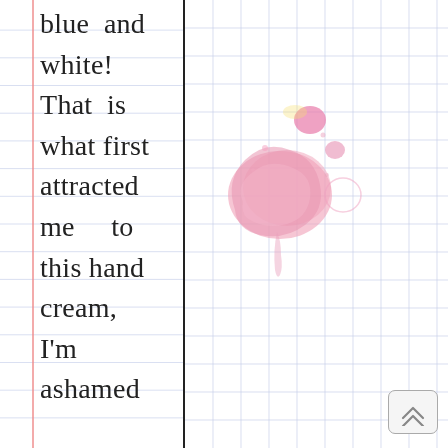blue and white! That is what first attracted me to this hand cream, I'm ashamed
[Figure (illustration): Pink watercolor ink splatter/blob on grid paper background]